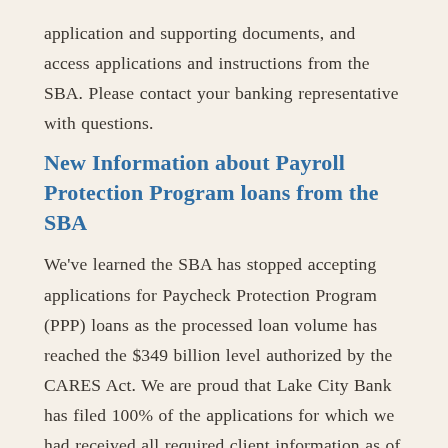application and supporting documents, and access applications and instructions from the SBA. Please contact your banking representative with questions.
New Information about Payroll Protection Program loans from the SBA
We've learned the SBA has stopped accepting applications for Paycheck Protection Program (PPP) loans as the processed loan volume has reached the $349 billion level authorized by the CARES Act. We are proud that Lake City Bank has filed 100% of the applications for which we had received all required client information as of April 15, 2020. We are disappointed that the SBA system will not accept additional applications at this time. While the SBA